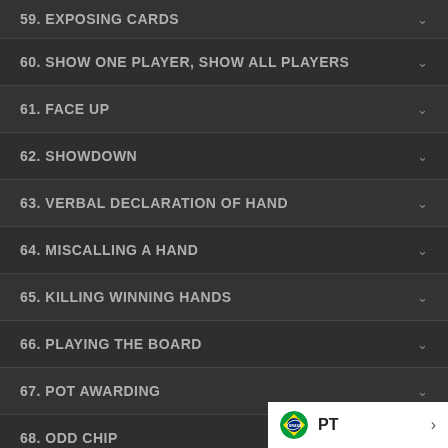59. EXPOSING CARDS
60. SHOW ONE PLAYER, SHOW ALL PLAYERS
61. FACE UP
62. SHOWDOWN
63. VERBAL DECLARATION OF HAND
64. MISCALLING A HAND
65. KILLING WINNING HANDS
66. PLAYING THE BOARD
67. POT AWARDING
68. ODD CHIP
69. SIDE POT